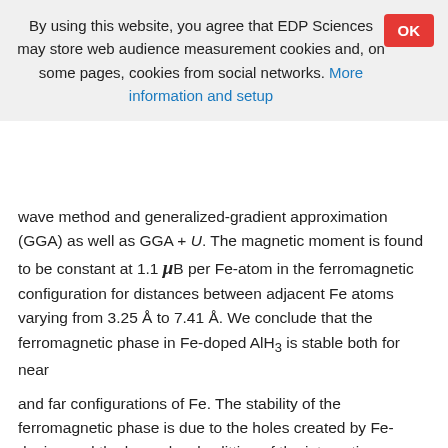By using this website, you agree that EDP Sciences may store web audience measurement cookies and, on some pages, cookies from social networks. More information and setup
wave method and generalized-gradient approximation (GGA) as well as GGA + U. The magnetic moment is found to be constant at 1.1 μB per Fe-atom in the ferromagnetic configuration for distances between adjacent Fe atoms varying from 3.25 Å to 7.41 Å. We conclude that the ferromagnetic phase in Fe-doped AlH3 is stable both for near and far configurations of Fe. The stability of the ferromagnetic phase is due to the holes created by Fe-doping and the larger level splitting of the interacting gap states within the ferromagnetic phase.
PACS: 75.50.Pp – Magnetic semiconductors / 75.30.Et – Exchange and superexchange interactions / 61.50.Ah – Theory of crystal structure, crystal symmetry; calculations and